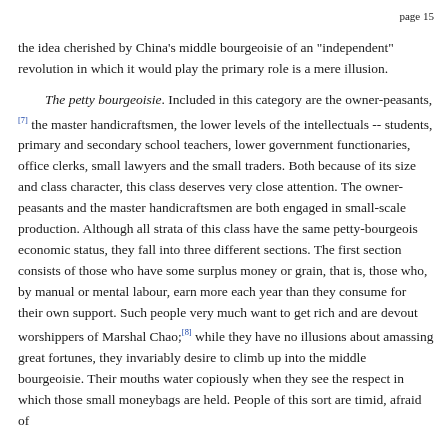page 15
the idea cherished by China's middle bourgeoisie of an "independent" revolution in which it would play the primary role is a mere illusion.
The petty bourgeoisie. Included in this category are the owner-peasants,[7] the master handicraftsmen, the lower levels of the intellectuals -- students, primary and secondary school teachers, lower government functionaries, office clerks, small lawyers and the small traders. Both because of its size and class character, this class deserves very close attention. The owner-peasants and the master handicraftsmen are both engaged in small-scale production. Although all strata of this class have the same petty-bourgeois economic status, they fall into three different sections. The first section consists of those who have some surplus money or grain, that is, those who, by manual or mental labour, earn more each year than they consume for their own support. Such people very much want to get rich and are devout worshippers of Marshal Chao;[8] while they have no illusions about amassing great fortunes, they invariably desire to climb up into the middle bourgeoisie. Their mouths water copiously when they see the respect in which those small moneybags are held. People of this sort are timid, afraid of